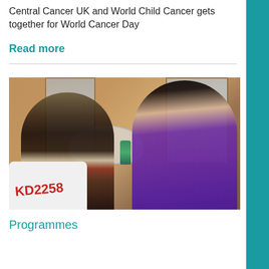Central Cancer UK and World Child Cancer gets together for World Cancer Day
Read more
[Figure (photo): Two women in a medical/community setting; one smiling woman in a striped shirt seated at a sewing machine labeled KD2258, another woman in purple working with her hands; windows and a sink visible in background.]
Programmes